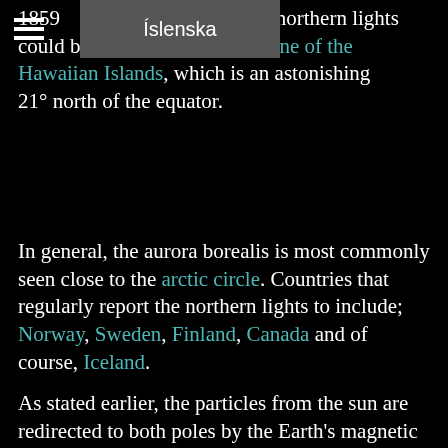1859 ... rted that the northern lights could be seen off the coast of one of the Hawaiian Islands, which is an astonishing 21° north of the equator.
In general, the aurora borealis is most commonly seen close to the arctic circle. Countries that regularly report the northern lights to include; Norway, Sweden, Finland, Canada and of course, Iceland.
As stated earlier, the particles from the sun are redirected to both poles by the Earth's magnetic field. The ones that move to the north pole are the Northern Lights, the ones that go towards the South Pole become the Southern Lights or Aurora Australis.
Northern Lights Nora...